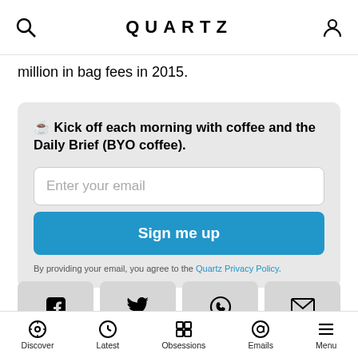QUARTZ
million in bag fees in 2015.
☕ Kick off each morning with coffee and the Daily Brief (BYO coffee).
Enter your email
Sign me up
By providing your email, you agree to the Quartz Privacy Policy.
[Figure (infographic): Social share buttons row: Facebook, Twitter, WhatsApp, Email icons]
Discover | Latest | Obsessions | Emails | Menu